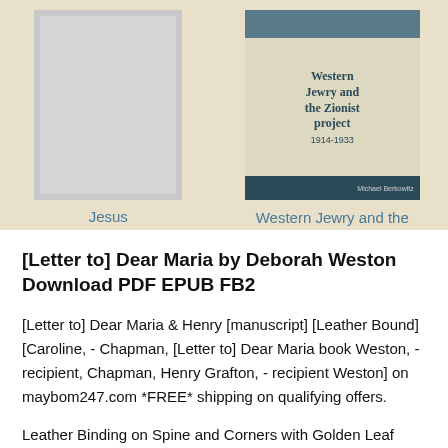[Figure (illustration): Book cover placeholder (gray rectangle with border) for 'Jesus']
Jesus
[Figure (illustration): Book cover for 'Western Jewry and the Zionist Project, 1914-1933' by Michael Berkowitz, beige with dark teal top and bottom bands]
Western Jewry and the Zionist Project, 19141933
[Letter to] Dear Maria by Deborah Weston Download PDF EPUB FB2
[Letter to] Dear Maria & Henry [manuscript] [Leather Bound] [Caroline, - Chapman, [Letter to] Dear Maria book Weston, - recipient, Chapman, Henry Grafton, - recipient Weston] on maybom247.com *FREE* shipping on qualifying offers.
Leather Binding on Spine and Corners with Golden Leaf Printing on